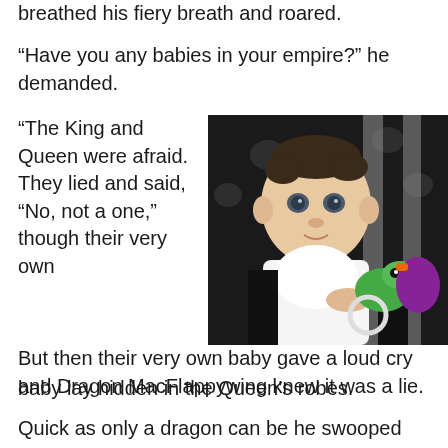breathed his fiery breath and roared.
“Have you any babies in your empire?” he demanded.
“The King and Queen were afraid. They lied and said, “No, not a one,” though their very own baby lay hidden in the Queen’s robes.
[Figure (photo): A baby wearing a white bib and holding a colorful toy dragon, seated in what appears to be a bouncy chair with a black and white patterned cover.]
But then their very own baby gave a loud cry and Dragon MacFlappywing knew it was a lie.
Quick as only a dragon can be he swooped down and